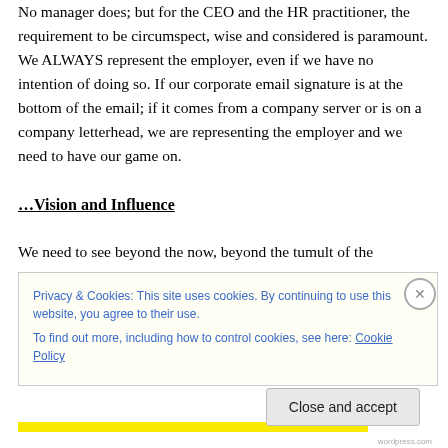No manager does; but for the CEO and the HR practitioner, the requirement to be circumspect, wise and considered is paramount. We ALWAYS represent the employer, even if we have no intention of doing so. If our corporate email signature is at the bottom of the email; if it comes from a company server or is on a company letterhead, we are representing the employer and we need to have our game on.
…Vision and Influence
We need to see beyond the now, beyond the tumult of the
Privacy & Cookies: This site uses cookies. By continuing to use this website, you agree to their use.
To find out more, including how to control cookies, see here: Cookie Policy
Close and accept